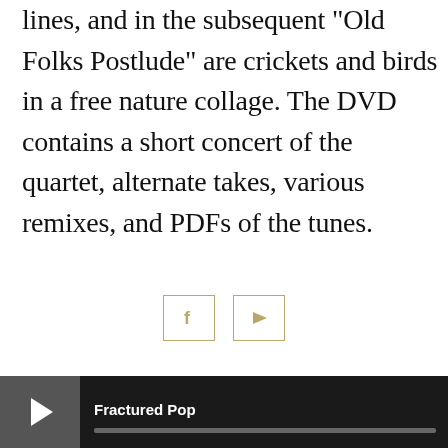lines, and in the subsequent "Old Folks Postlude" are crickets and birds in a free nature collage. The DVD contains a short concert of the quartet, alternate takes, various remixes, and PDFs of the tunes.
[Figure (other): Social media icons: Facebook (f) and YouTube (play button) in square boxes with tan/gold border]
Terms
Fractured Pop